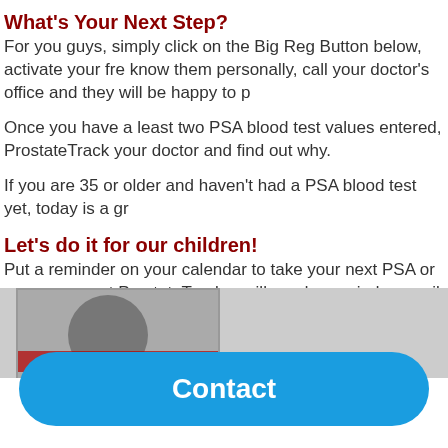What's Your Next Step?
For you guys, simply click on the Big Reg Button below, activate your fre know them personally, call your doctor's office and they will be happy to p
Once you have a least two PSA blood test values entered, ProstateTrack your doctor and find out why.
If you are 35 or older and haven't had a PSA blood test yet, today is a gr
Let's do it for our children!
Put a reminder on your calendar to take your next PSA or mammogram t ProstateTracker will send a reminder email 11 months after you enter yo receive the reminder email. Easy!
Let's follow Nike's advice and Just Do It. Today!
[Figure (photo): Image strip at bottom of page showing a circular photo and a red button with text 'Click Here to']
Contact